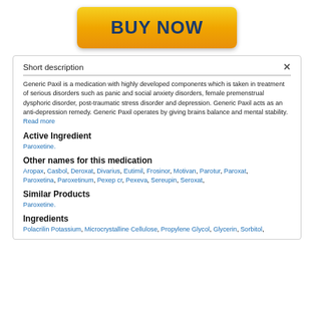[Figure (other): BUY NOW button with gold gradient background and dark blue bold text]
Short description
Generic Paxil is a medication with highly developed components which is taken in treatment of serious disorders such as panic and social anxiety disorders, female premenstrual dysphoric disorder, post-traumatic stress disorder and depression. Generic Paxil acts as an anti-depression remedy. Generic Paxil operates by giving brains balance and mental stability. Read more
Active Ingredient
Paroxetine.
Other names for this medication
Aropax, Casbol, Deroxat, Divarius, Eutimil, Frosinor, Motivan, Parotur, Paroxat, Paroxetina, Paroxetinum, Pexep cr, Pexeva, Sereupin, Seroxat,
Similar Products
Paroxetine.
Ingredients
Polacrilin Potassium, Microcrystalline Cellulose, Propylene Glycol, Glycerin, Sorbitol,